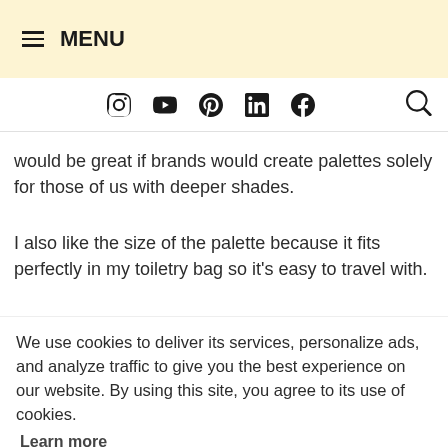≡ MENU
would be great if brands would create palettes solely for those of us with deeper shades.
I also like the size of the palette because it fits perfectly in my toiletry bag so it's easy to travel with.
We use cookies to deliver its services, personalize ads, and analyze traffic to give you the best experience on our website. By using this site, you agree to its use of cookies.
Learn more
Got it!